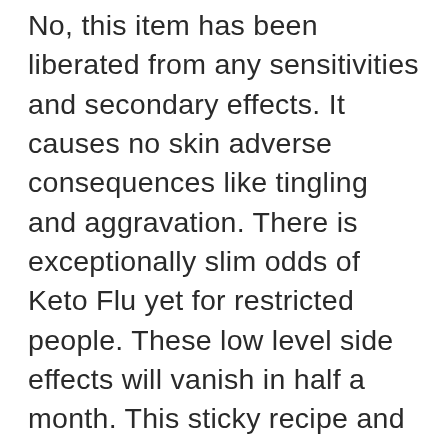No, this item has been liberated from any sensitivities and secondary effects. It causes no skin adverse consequences like tingling and aggravation. There is exceptionally slim odds of Keto Flu yet for restricted people. These low level side effects will vanish in half a month. This sticky recipe and its trimmings are inspected in research center prior to disclosing it. In addition numerous wellbeing experts and nutritionists prescribe this Keto chewy candies to their clients. You can expect dependable medical advantages and normal weight reduction from Advanced ACV Appetite Canada